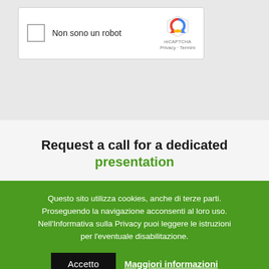[Figure (screenshot): reCAPTCHA widget with checkbox labeled 'Non sono un robot' and Google reCAPTCHA logo with 'Privacy - Termini' links on the right]
Request a call for a dedicated presentation
Questo sito utilizza cookies, anche di terze parti. Proseguendo la navigazione acconsenti al loro uso. Nell'Informativa sulla Privacy puoi leggere le istruzioni per l'eventuale disabilitazione.
Accetto   Maggiori informazioni